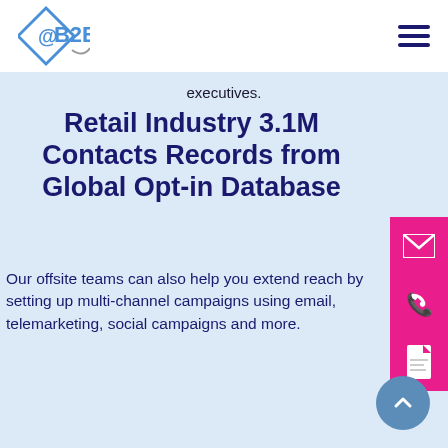[Figure (logo): @B2B company logo with diamond shape containing @ symbol and B2B text]
executives.
Retail Industry 3.1M Contacts Records from Global Opt-in Database
Our offsite teams can also help you extend reach by setting up multi-channel campaigns using email, telemarketing, social campaigns and more.